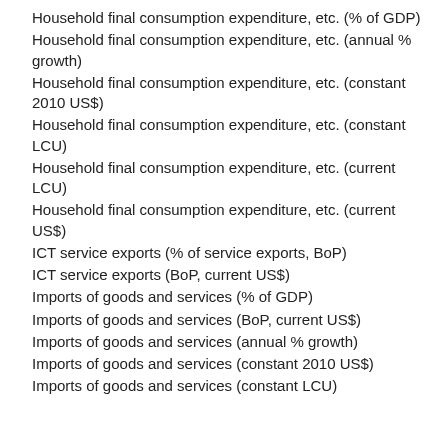Household final consumption expenditure, etc. (% of GDP)
Household final consumption expenditure, etc. (annual % growth)
Household final consumption expenditure, etc. (constant 2010 US$)
Household final consumption expenditure, etc. (constant LCU)
Household final consumption expenditure, etc. (current LCU)
Household final consumption expenditure, etc. (current US$)
ICT service exports (% of service exports, BoP)
ICT service exports (BoP, current US$)
Imports of goods and services (% of GDP)
Imports of goods and services (BoP, current US$)
Imports of goods and services (annual % growth)
Imports of goods and services (constant 2010 US$)
Imports of goods and services (constant LCU)